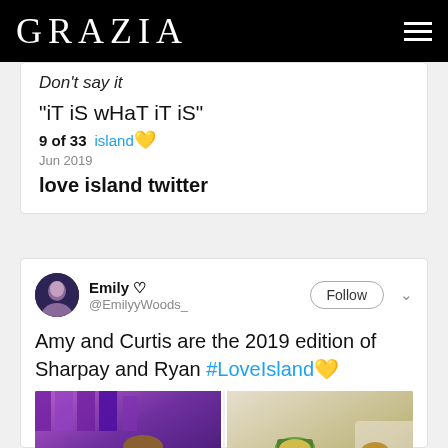GRAZIA
Don't say it
"iT iS wHaT iT iS"
9 of 33 ... island 💛 Jun 2019
love island twitter
Emily ♡ @EmilyyWoods_
Amy and Curtis are the 2019 edition of Sharpay and Ryan #LoveIsland💛
[Figure (photo): Two side-by-side photos from Love Island showing people laughing and posing]